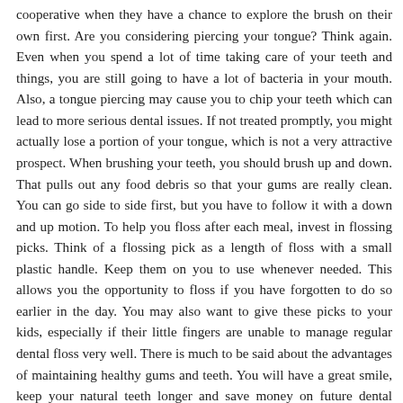cooperative when they have a chance to explore the brush on their own first. Are you considering piercing your tongue? Think again. Even when you spend a lot of time taking care of your teeth and things, you are still going to have a lot of bacteria in your mouth. Also, a tongue piercing may cause you to chip your teeth which can lead to more serious dental issues. If not treated promptly, you might actually lose a portion of your tongue, which is not a very attractive prospect. When brushing your teeth, you should brush up and down. That pulls out any food debris so that your gums are really clean. You can go side to side first, but you have to follow it with a down and up motion. To help you floss after each meal, invest in flossing picks. Think of a flossing pick as a length of floss with a small plastic handle. Keep them on you to use whenever needed. This allows you the opportunity to floss if you have forgotten to do so earlier in the day. You may also want to give these picks to your kids, especially if their little fingers are unable to manage regular dental floss very well. There is much to be said about the advantages of maintaining healthy gums and teeth. You will have a great smile, keep your natural teeth longer and save money on future dental work. If you follow the advice in this article, you will have learned the secrets of great oral hygiene. For more information about toothwhitening...